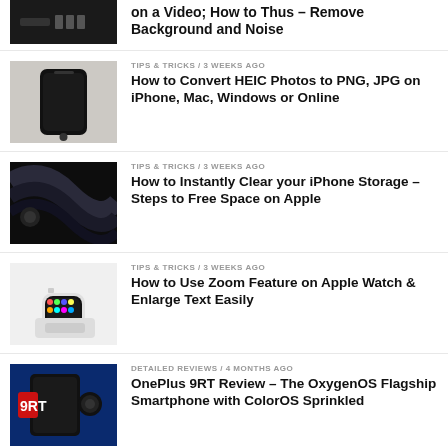[Figure (photo): Dark electronics/speaker device thumbnail]
on a Video; How to Thus – Remove Background and Noise
[Figure (photo): Black iPhone on white fur background]
TIPS & TRICKS / 3 weeks ago
How to Convert HEIC Photos to PNG, JPG on iPhone, Mac, Windows or Online
[Figure (photo): Apple device with curved lines in dark setting]
TIPS & TRICKS / 3 weeks ago
How to Instantly Clear your iPhone Storage – Steps to Free Space on Apple
[Figure (photo): Apple Watch on a stand with colorful app icons]
TIPS & TRICKS / 3 weeks ago
How to Use Zoom Feature on Apple Watch & Enlarge Text Easily
[Figure (photo): OnePlus 9RT smartphone with red branding on blue background]
DETAILED REVIEWS / 4 months ago
OnePlus 9RT Review – The OxygenOS Flagship Smartphone with ColorOS Sprinkled
[Figure (photo): Partial thumbnail of another device/product]
RECOMMENDED / 8 months ago
Dyson Purifier Hot+Cool HP07 Unboxing